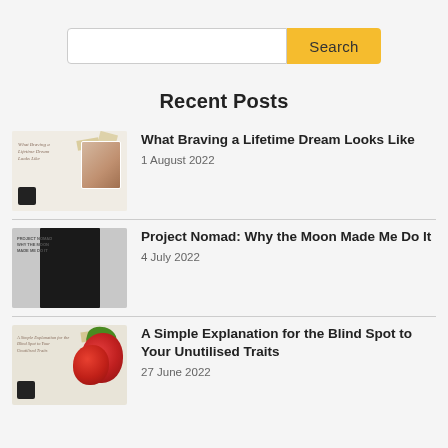Search
Recent Posts
[Figure (photo): Thumbnail image for 'What Braving a Lifetime Dream Looks Like' blog post]
What Braving a Lifetime Dream Looks Like
1 August 2022
[Figure (photo): Thumbnail image for 'Project Nomad: Why the Moon Made Me Do It' blog post]
Project Nomad: Why the Moon Made Me Do It
4 July 2022
[Figure (photo): Thumbnail image for 'A Simple Explanation for the Blind Spot to Your Unutilised Traits' blog post showing apples/fruit]
A Simple Explanation for the Blind Spot to Your Unutilised Traits
27 June 2022